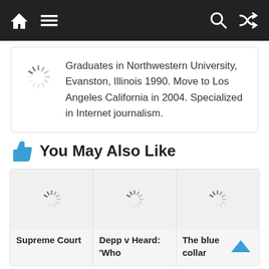Navigation bar with home, menu, search, and shuffle icons
Graduates in Northwestern University, Evanston, Illinois 1990. Move to Los Angeles California in 2004. Specialized in Internet journalism.
You May Also Like
Supreme Court
Depp v Heard: 'Who
The blue collar